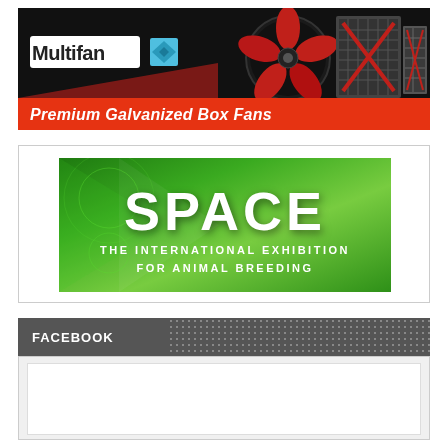[Figure (advertisement): Multifan Premium Galvanized Box Fans advertisement. Black background with industrial fans displayed, red accent bar at bottom with white italic bold text reading 'Premium Galvanized Box Fans'. Multifan logo with blue diamond shape on left.]
[Figure (advertisement): SPACE - The International Exhibition for Animal Breeding advertisement banner. Green gradient background with large white bold text 'SPACE' and subtitle 'THE INTERNATIONAL EXHIBITION FOR ANIMAL BREEDING'.]
FACEBOOK